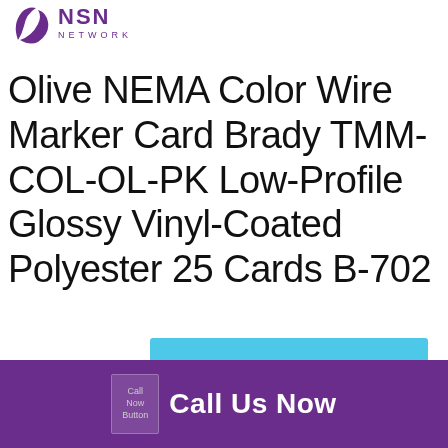[Figure (logo): NSN Network logo with purple swoosh and text]
Olive NEMA Color Wire Marker Card Brady TMM-COL-OL-PK Low-Profile Glossy Vinyl-Coated Polyester 25 Cards B-702
[Figure (other): Blue bar element at bottom of page]
Call Us Now